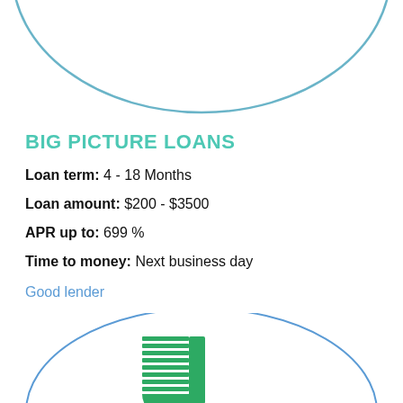[Figure (illustration): Partial teal/blue ellipse outline at top of page]
BIG PICTURE LOANS
Loan term: 4 - 18 Months
Loan amount: $200 - $3500
APR up to: 699 %
Time to money: Next business day
Good lender
[Figure (logo): Upgrade logo inside a teal/blue ellipse outline — green shield-like U icon above the word 'upgrade' in green lowercase letters]